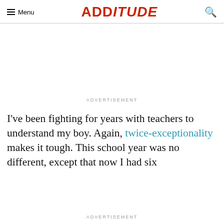Menu | ADDitude
ADVERTISEMENT
I've been fighting for years with teachers to understand my boy. Again, twice-exceptionality makes it tough. This school year was no different, except that now I had six
ADVERTISEMENT